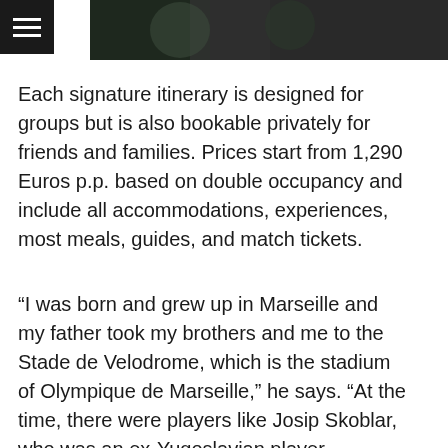[Figure (photo): Dark photograph showing people, one wearing a green jacket, appearing to be at a sports event or celebration]
Each signature itinerary is designed for groups but is also bookable privately for friends and families. Prices start from 1,290 Euros p.p. based on double occupancy and include all accommodations, experiences, most meals, guides, and match tickets.
“I was born and grew up in Marseille and my father took my brothers and me to the Stade de Velodrome, which is the stadium of Olympique de Marseille,” he says. “At the time, there were players like Josip Skoblar, who was an ex-Yugoslavian player.